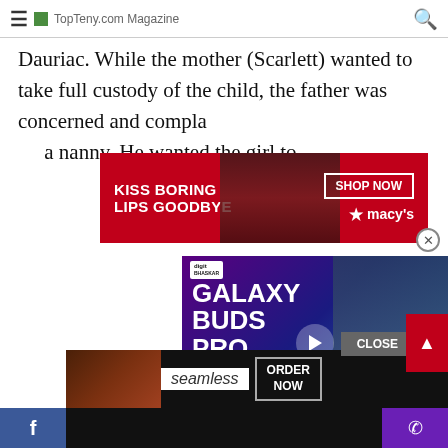TopTeny.com Magazine
...and keep care of their daughter, Rose Dorothy Dauriac. While the mother (Scarlett) wanted to take full custody of the child, the father was concerned and complained about...used by a nanny. He wanted the girl to...
[Figure (screenshot): Macy's advertisement banner: red background, text 'KISS BORING LIPS GOODBYE' with 'SHOP NOW' button and Macy's star logo, showing woman with red lips]
[Figure (screenshot): Galaxy Buds Pro video advertisement overlay showing purple/blue gradient background with text 'GALAXY BUDS PRO' and play button, plus a man in white t-shirt]
[Figure (screenshot): Seamless food delivery bottom banner ad with pizza image, 'seamless' branding, and 'ORDER NOW' button]
CLOSE | Facebook icon | Phone icon